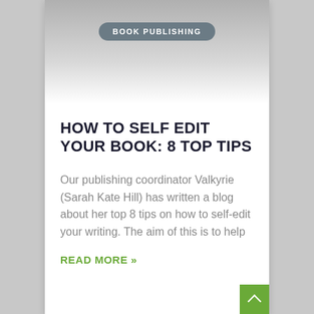[Figure (illustration): Gray gradient image area at top of card with a rounded pill-shaped badge reading BOOK PUBLISHING]
HOW TO SELF EDIT YOUR BOOK: 8 TOP TIPS
Our publishing coordinator Valkyrie (Sarah Kate Hill) has written a blog about her top 8 tips on how to self-edit your writing. The aim of this is to help
READ MORE »